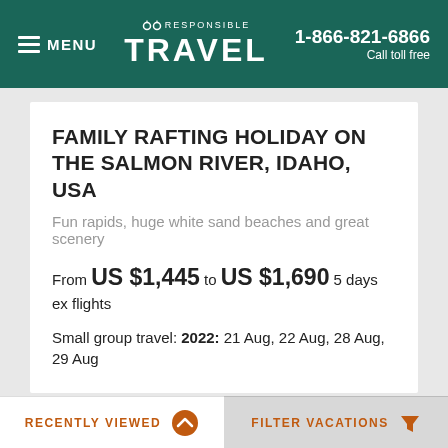MENU | RESPONSIBLE TRAVEL | 1-866-821-6866 Call toll free
FAMILY RAFTING HOLIDAY ON THE SALMON RIVER, IDAHO, USA
Fun rapids, huge white sand beaches and great scenery
From US $1,445 to US $1,690 5 days ex flights
Small group travel: 2022: 21 Aug, 22 Aug, 28 Aug, 29 Aug
[Figure (other): White card placeholder area with a double chevron up arrow in bottom right corner]
RECENTLY VIEWED | FILTER VACATIONS